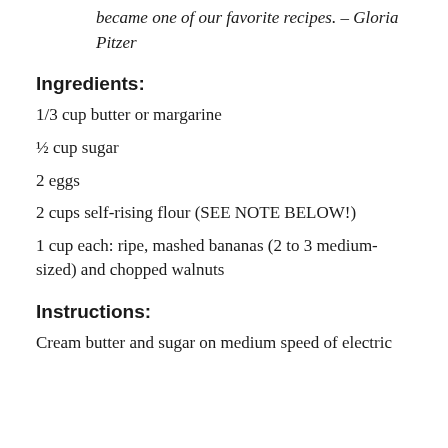became one of our favorite recipes. – Gloria Pitzer
Ingredients:
1/3 cup butter or margarine
½ cup sugar
2 eggs
2 cups self-rising flour (SEE NOTE BELOW!)
1 cup each: ripe, mashed bananas (2 to 3 medium-sized) and chopped walnuts
Instructions:
Cream butter and sugar on medium speed of electric